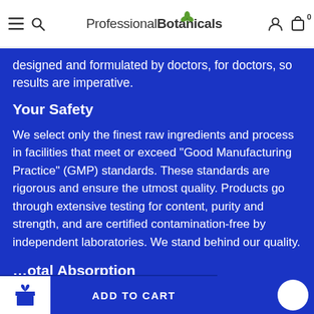Professional Botanicals
designed and formulated by doctors, for doctors, so results are imperative.
Your Safety
We select only the finest raw ingredients and process in facilities that meet or exceed “Good Manufacturing Practice” (GMP) standards. These standards are rigorous and ensure the utmost quality. Products go through extensive testing for content, purity and strength, and are certified contamination-free by independent laboratories. We stand behind our quality.
…otal Absorption